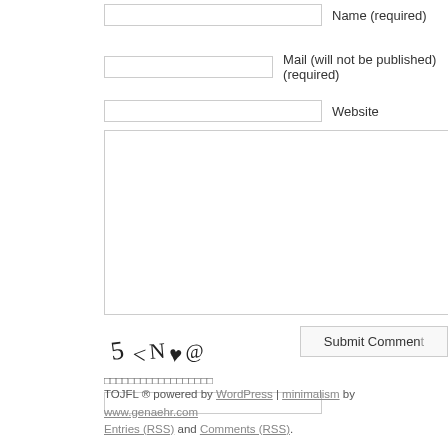Name (required)
Mail (will not be published) (required)
Website
[Figure (other): Comment text area input box]
[Figure (other): CAPTCHA image with handwritten characters]
□□□□□□□□□□□□□□□□□□
[Figure (other): CAPTCHA input text field]
Submit Comment button
TOJFL ® powered by WordPress | minimalism by www.genaehr.com Entries (RSS) and Comments (RSS).